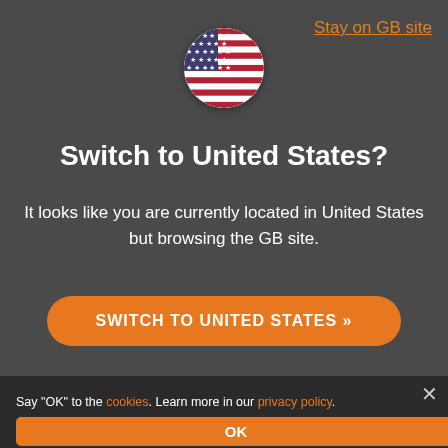[Figure (illustration): US flag emoji circle icon]
Stay on GB site
Switch to United States?
It looks like you are currently located in United States but browsing the GB site.
SWITCH TO UNITED STATES »
[Figure (logo): Bojoko logo with orange B icon and bojoko wordmark]
Casino Bonuses
[Figure (photo): Partial photo of a person in background]
Say "OK" to the cookies. Learn more in our privacy policy.
OK